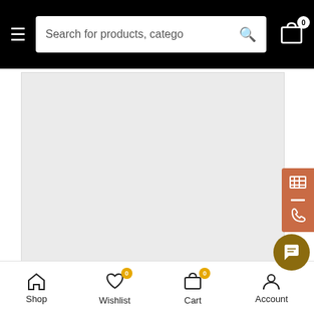Search for products, categories
[Figure (photo): Product image placeholder - large grey rectangle representing a product photo area]
[Figure (other): Orange side panel with table/phone icons on right edge]
Look Fabulous Even in Forties with Hya...ic
Shop | Wishlist 0 | Cart 0 | Account